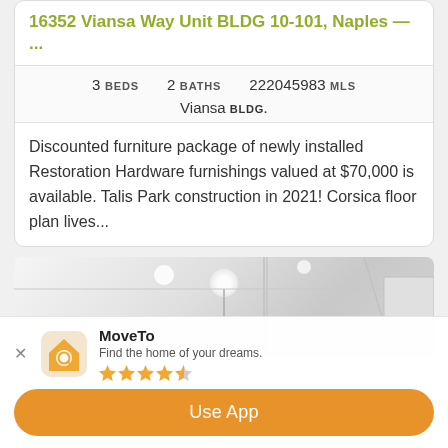16352 Viansa Way Unit BLDG 10-101, Naples — ...
3 BEDS   2 BATHS   222045983 MLS
Viansa BLDG.
Discounted furniture package of newly installed Restoration Hardware furnishings valued at $70,000 is available. Talis Park construction in 2021! Corsica floor plan lives...
[Figure (photo): Interior photo of a white modern room with recessed lighting]
MoveTo
Find the home of your dreams.
★★★★☆
Use App